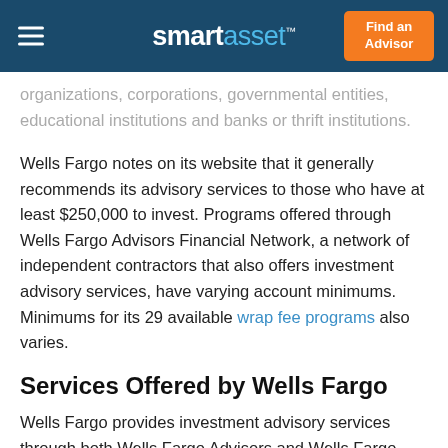smartasset™  Find an Advisor
organizations, corporations, governmental entities, educational institutions and banks or thrift institutions.
Wells Fargo notes on its website that it generally recommends its advisory services to those who have at least $250,000 to invest. Programs offered through Wells Fargo Advisors Financial Network, a network of independent contractors that also offers investment advisory services, have varying account minimums. Minimums for its 29 available wrap fee programs also varies.
Services Offered by Wells Fargo
Wells Fargo provides investment advisory services through both Wells Fargo Advisors and Wells Fargo Advisors Financial